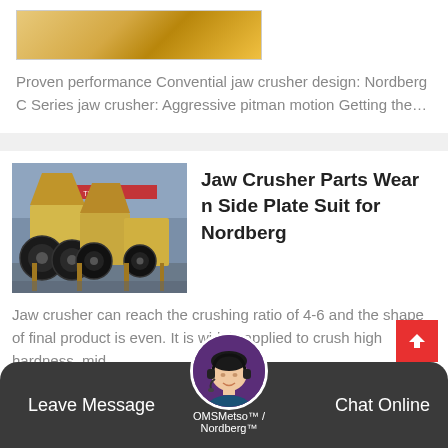Proven performance Convential jaw crusher design: Nordberg C Series jaw crusher: Aggressive pitman motion Getting the…
Jaw Crusher Parts Wear n Side Plate Suit for Nordberg
[Figure (photo): Industrial jaw crushers in a factory/warehouse setting, beige/yellow colored machines with large flywheels]
Jaw crusher can reach the crushing ratio of 4-6 and the shape of final product is even. It is widely applied to crush high hardness, mid…
OMSMetso™ / Nordberg™
Leave Message
Chat Online